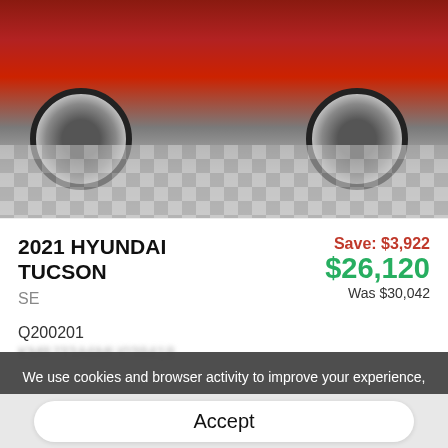[Figure (photo): Partial photo of a red 2021 Hyundai Tucson SUV on a checkered showroom floor, showing the front/side wheels and lower body; the top portion is cropped.]
2021 HYUNDAI TUCSON
SE
Save: $3,922
$26,120
Was $30,042
Q200201
KM8J33A6MU038418
We use cookies and browser activity to improve your experience, personalize content and ads, and analyze how our sites are used. For more information, view our Privacy Policy.
Accept